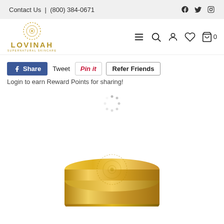Contact Us | (800) 384-0671
[Figure (logo): Lovinah Supernatural Skincare logo with golden circular emblem and brand name]
Share
Tweet
Pin it
Refer Friends
Login to earn Reward Points for sharing!
[Figure (photo): Gold cosmetic jar/product container with Lovinah logo on lid, partially visible at bottom of page]